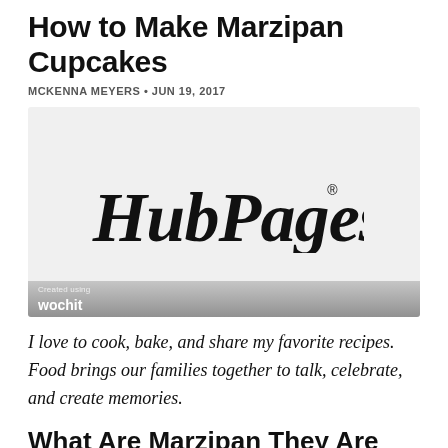How to Make Marzipan Cupcakes
MCKENNA MEYERS • JUN 19, 2017
[Figure (logo): HubPages logo on light gray background with wochit branding bar at bottom]
I love to cook, bake, and share my favorite recipes. Food brings our families together to talk, celebrate, and create memories.
What Are Marzipan They Are the